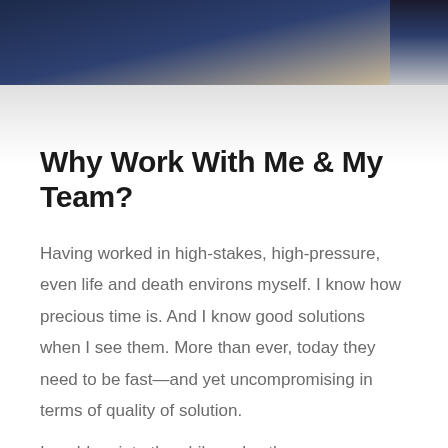[Figure (photo): Partial photo of a person wearing a dark navy blue outfit, cropped at the top of the page with a wooden surface visible in the background.]
Why Work With Me & My Team?
Having worked in high-stakes, high-pressure, even life and death environs myself. I know how precious time is. And I know good solutions when I see them. More than ever, today they need to be fast—and yet uncompromising in terms of quality of solution.
I could go into the philosophy, the